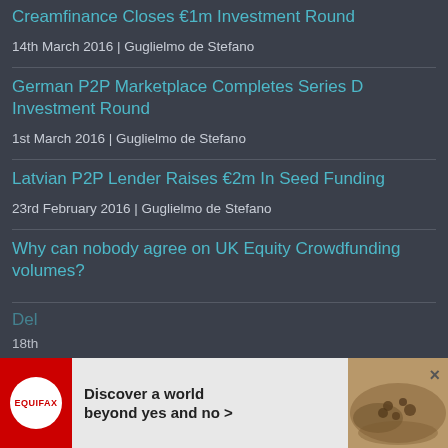Creamfinance Closes €1m Investment Round
14th March 2016 | Guglielmo de Stefano
German P2P Marketplace Completes Series D Investment Round
1st March 2016 | Guglielmo de Stefano
Latvian P2P Lender Raises €2m In Seed Funding
23rd February 2016 | Guglielmo de Stefano
Why can nobody agree on UK Equity Crowdfunding volumes?
18th February 2016 | Rupert Taylor
Del…
18th…
[Figure (infographic): Equifax advertisement banner: red logo area with EQUIFAX text in white circle, bold text 'Discover a world beyond yes and no >' and decorative photo of hands with seeds/beans on right side. Close button X in top right.]